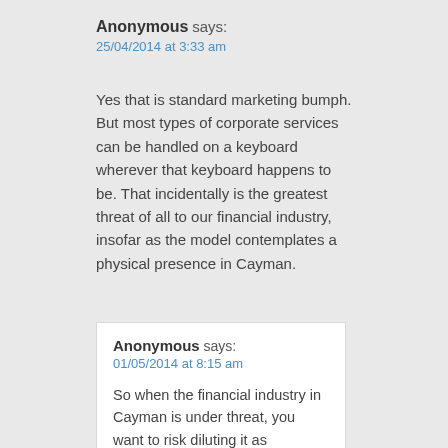Anonymous says:
25/04/2014 at 3:33 am
Yes that is standard marketing bumph. But most types of corporate services can be handled on a keyboard wherever that keyboard happens to be. That incidentally is the greatest threat of all to our financial industry, insofar as the model contemplates a physical presence in Cayman.
Anonymous says:
01/05/2014 at 8:15 am
So when the financial industry in Cayman is under threat, you want to risk diluting it as effectively a welfare measure? That makes no sense.
Anonymous says:
01/05/2014 at 8:45 pm
Not at all. I would never